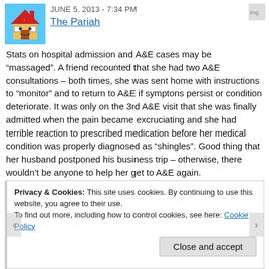JUNE 5, 2013 - 7:34 PM
The Pariah
Stats on hospital admission and A&E cases may be “massaged”. A friend recounted that she had two A&E consultations – both times, she was sent home with instructions to “monitor” and to return to A&E if symptons persist or condition deteriorate. It was only on the 3rd A&E visit that she was finally admitted when the pain became excruciating and she had terrible reaction to prescribed medication before her medical condition was properly diagnosed as “shingles”. Good thing that her husband postponed his business trip – otherwise, there wouldn’t be anyone to help her get to A&E again.
Many ways to “manage” when there is shortage of hospital beds and when hospital corridors are also packed with trolley beds.
Privacy & Cookies: This site uses cookies. By continuing to use this website, you agree to their use.
To find out more, including how to control cookies, see here: Cookie Policy
Close and accept